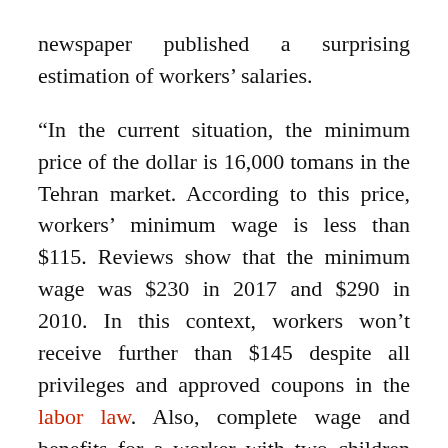newspaper published a surprising estimation of workers’ salaries.
“In the current situation, the minimum price of the dollar is 16,000 tomans in the Tehran market. According to this price, workers’ minimum wage is less than $115. Reviews show that the minimum wage was $230 in 2017 and $290 in 2010. In this context, workers won’t receive further than $145 despite all privileges and approved coupons in the labor law. Also, complete wage and benefits for a worker with two children are only $168,” Hamsharhi wrote on April 12.
Therefore, in the best condition, Iranian workers will ultimately receive just $208, which is less than